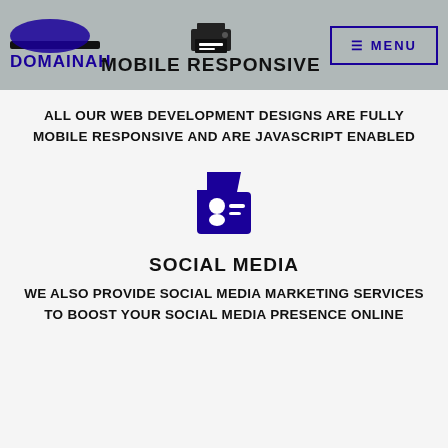DOMAINAH — MOBILE RESPONSIVE
ALL OUR WEB DEVELOPMENT DESIGNS ARE FULLY MOBILE RESPONSIVE AND ARE JAVASCRIPT ENABLED
[Figure (illustration): Dark blue social media / ID card icon showing a person's badge with lines representing text]
SOCIAL MEDIA
WE ALSO PROVIDE SOCIAL MEDIA MARKETING SERVICES TO BOOST YOUR SOCIAL MEDIA PRESENCE ONLINE